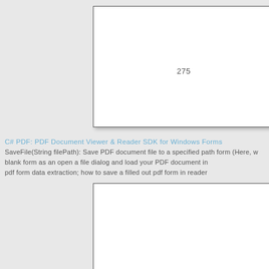275
C# PDF: PDF Document Viewer & Reader SDK for Windows Forms
SaveFile(String filePath): Save PDF document file to a specified path form (Here, w blank form as an open a file dialog and load your PDF document in pdf form data extraction; how to save a filled out pdf form in reader